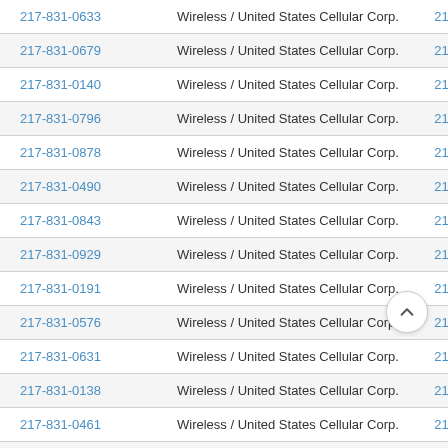| Phone | Carrier | Code |
| --- | --- | --- |
| 217-831-0633 | Wireless / United States Cellular Corp. - Illinois | 21783106 |
| 217-831-0679 | Wireless / United States Cellular Corp. - Illinois | 21783106 |
| 217-831-0140 | Wireless / United States Cellular Corp. - Illinois | 21783101 |
| 217-831-0796 | Wireless / United States Cellular Corp. - Illinois | 21783107 |
| 217-831-0878 | Wireless / United States Cellular Corp. - Illinois | 21783108 |
| 217-831-0490 | Wireless / United States Cellular Corp. - Illinois | 21783104 |
| 217-831-0843 | Wireless / United States Cellular Corp. - Illinois | 21783108 |
| 217-831-0929 | Wireless / United States Cellular Corp. - Illinois | 21783109 |
| 217-831-0191 | Wireless / United States Cellular Corp. - Illinois | 21783101 |
| 217-831-0576 | Wireless / United States Cellular Corp. - Illinois | 21783105 |
| 217-831-0631 | Wireless / United States Cellular Corp. - Illinois | 21783106 |
| 217-831-0138 | Wireless / United States Cellular Corp. - Illinois | 21783101 |
| 217-831-0461 | Wireless / United States Cellular Corp. - Illinois | 21783104 |
| 217-831-0512 | Wireless / United States Cellular Corp. - Illinois | 21783105 |
| 217-831-0867 | Wireless / United States Cellular Corp. - Illinois | 08 |
| 217-831-0716 | Wireless / United States Cellular Corp. - Illinois | 107 |
| 217-831-0739 | Wireless / United States Cellular Corp. - Illinois | 21783107 |
| 217-831-0529 | Wireless / United States Cellular Corp. - Illinois | 21783105 |